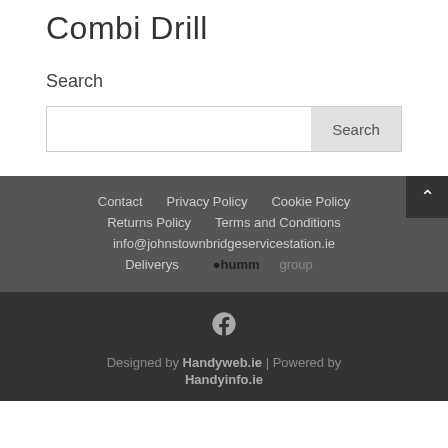Combi Drill
Search
Search [input box with Search button]
Contact  Privacy Policy  Cookie Policy  Returns Policy  Terms and Conditions  info@johnstownbridgeservicestation.ie  Deliverys  hummgroup  Designed by Handyweb.ie | Powered by Handyinfo.ie